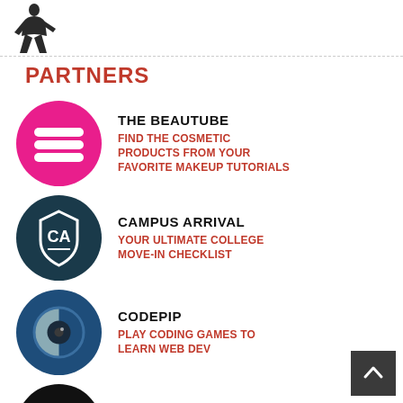[Figure (logo): Black silhouette of a person/figure logo in top left corner]
PARTNERS
THE BEAUTUBE - FIND THE COSMETIC PRODUCTS FROM YOUR FAVORITE MAKEUP TUTORIALS
CAMPUS ARRIVAL - YOUR ULTIMATE COLLEGE MOVE-IN CHECKLIST
CODEPIP - PLAY CODING GAMES TO LEARN WEB DEV
SHARK TANK SHOPPER - SHOP FOR PRODUCTS AS SEEN ON THE TV SHOW SHARK TANK